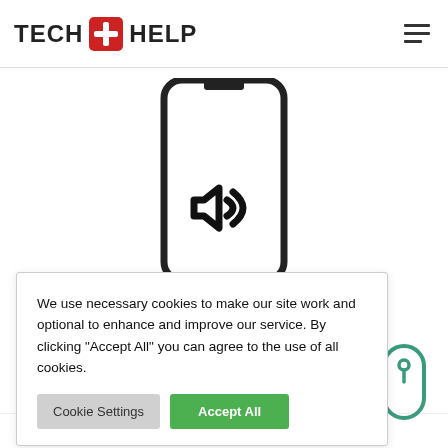TECH + HELP
[Figure (screenshot): Screenshot of Tech Help website showing a smartphone with a crossed-out speaker/audio icon, partially obscured by a cookie consent banner. The page is a product page for iPhone SE 2020 OEM Earpiece Replacement.]
We use necessary cookies to make our site work and optional to enhance and improve our service. By clicking “Accept All” you can agree to the use of all cookies.
Cookie Settings
Accept All
iPhone SE 2020 OEM Earpiece Replacement